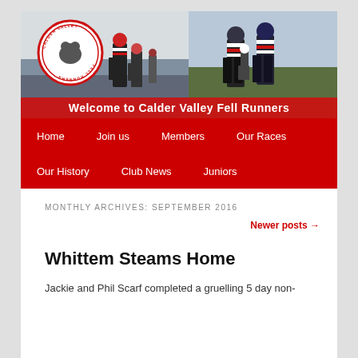[Figure (photo): Header banner with two running photos side by side. Left photo shows runners from behind in snowy conditions with red/white stripe vests. Right photo shows two runners from behind also in red/white vests on an open hillside. The Calder Valley Fell Runners circular logo is overlaid top-left. A red banner reads 'Welcome to Calder Valley Fell Runners'.]
Home  Join us  Members  Our Races  Our History  Club News  Juniors
MONTHLY ARCHIVES: SEPTEMBER 2016
Newer posts →
Whittem Steams Home
Jackie and Phil Scarf completed a gruelling 5 day non-